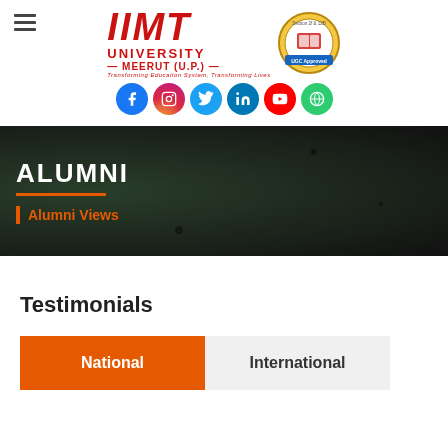[Figure (logo): IIMT University Meerut (U.P.) logo with UGC Approved Section 2f & 12B badge and social media icons (Facebook, Instagram, Twitter, LinkedIn, YouTube, Website)]
ALUMNI
Alumni Views
Testimonials
National
International